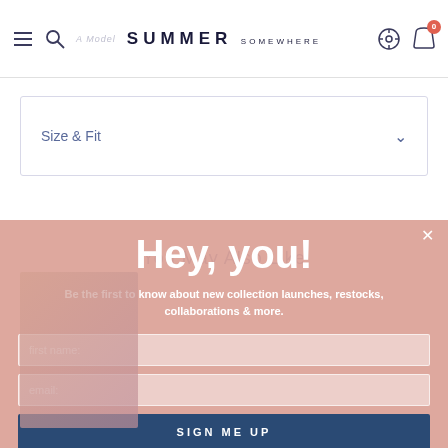SUMMER SOMEWHERE
Size & Fit
You May Also Like
[Figure (screenshot): Email signup popup overlay with fields for first name and email, and a 'SIGN ME UP' button on a pink/salmon background]
Hey, you!
Be the first to know about new collection launches, restocks, collaborations & more.
first name:
email:
SIGN ME UP